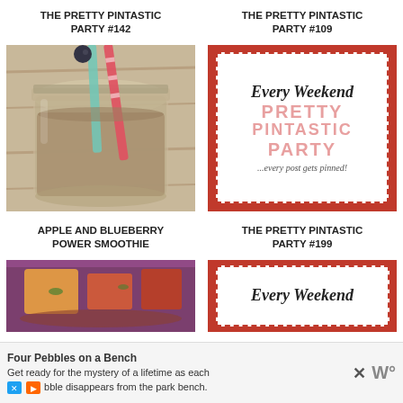THE PRETTY PINTASTIC PARTY #142
THE PRETTY PINTASTIC PARTY #109
[Figure (photo): A mason jar smoothie with red and turquoise striped straws, viewed from above on a wooden surface]
[Figure (illustration): Every Weekend Pretty Pintastic Party badge - red border with dashed outline, text reading 'Every Weekend PRETTY PINTASTIC PARTY ...every post gets pinned!']
APPLE AND BLUEBERRY POWER SMOOTHIE
THE PRETTY PINTASTIC PARTY #199
[Figure (photo): Partial view of a baking dish with colorful food items]
[Figure (illustration): Partial view of Every Weekend badge with red border]
Four Pebbles on a Bench
Get ready for the mystery of a lifetime as each bble disappears from the park bench.